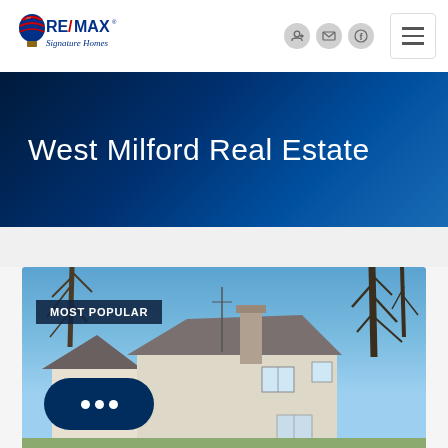[Figure (logo): RE/MAX Signature Homes logo with hot air balloon icon]
West Milford Real Estate
[Figure (photo): Exterior photo of a residential house with beige/white siding, dark roof, brick chimney, bare trees in background, blue sky. Shows a two-story colonial-style home.]
MOST POPULAR